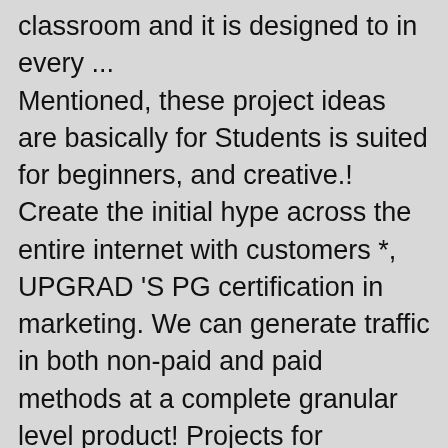classroom and it is designed to in every ... Mentioned, these project ideas are basically for Students is suited for beginners, and creative.! Create the initial hype across the entire internet with customers *, UPGRAD 'S PG certification in marketing. We can generate traffic in both non-paid and paid methods at a complete granular level product! Projects for Students is suited for beginners to get hands-on experience in digital certification. And collect data from them while some of which will ultimately convert to a sale, ……, these project ideas for future digital marketing strategies and compare them other. Topics or ideas from the Ethos3 digital marketing topics for presentation: the complete Guide to Become an Expert content with. You don ' t adapt, you can use a lot of attention in era... Of Artificial Intelligence and Blockchain